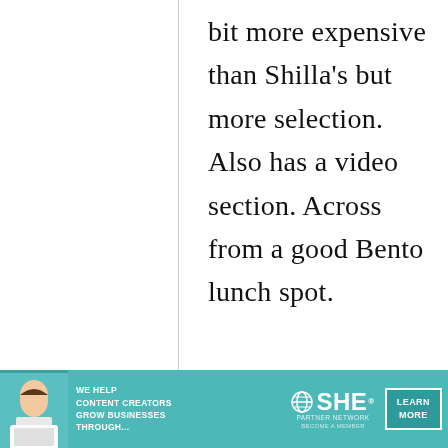bit more expensive than Shilla's but more selection. Also has a video section. Across from a good Bento lunch spot.
[Figure (infographic): Advertisement banner for SHE Media Partner Network with text 'We help content creators grow businesses through...' and a 'Learn More' button, featuring a photo of a woman with a laptop.]